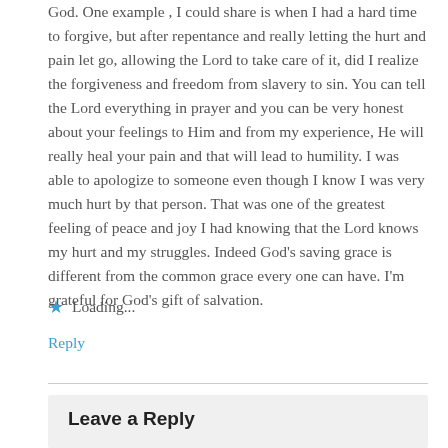God. One example , I could share is when I had a hard time to forgive, but after repentance and really letting the hurt and pain let go, allowing the Lord to take care of it, did I realize the forgiveness and freedom from slavery to sin. You can tell the Lord everything in prayer and you can be very honest about your feelings to Him and from my experience, He will really heal your pain and that will lead to humility. I was able to apologize to someone even though I know I was very much hurt by that person. That was one of the greatest feeling of peace and joy I had knowing that the Lord knows my hurt and my struggles. Indeed God’s saving grace is different from the common grace every one can have. I’m grateful for God’s gift of salvation.
★  Loading...
Reply
Leave a Reply